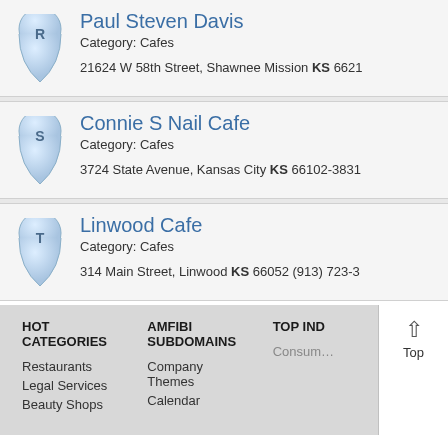Paul Steven Davis
Category: Cafes
21624 W 58th Street, Shawnee Mission KS 6621
Connie S Nail Cafe
Category: Cafes
3724 State Avenue, Kansas City KS 66102-3831
Linwood Cafe
Category: Cafes
314 Main Street, Linwood KS 66052 (913) 723-3
HOT CATEGORIES
AMFIBI SUBDOMAINS
TOP IND
Restaurants
Legal Services
Beauty Shops
Company Themes
Calendar
Consum…